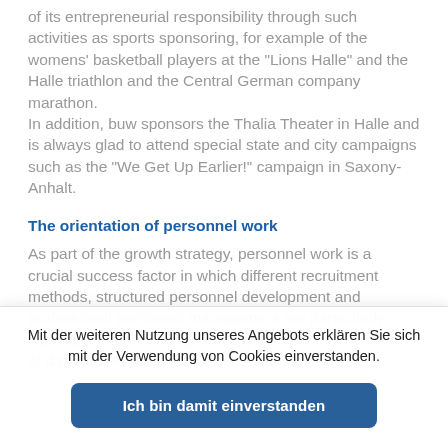of its entrepreneurial responsibility through such activities as sports sponsoring, for example of the womens' basketball players at the "Lions Halle" and the Halle triathlon and the Central German company marathon.
In addition, buw sponsors the Thalia Theater in Halle and is always glad to attend special state and city campaigns such as the "We Get Up Earlier!" campaign in Saxony-Anhalt.
The orientation of personnel work
As part of the growth strategy, personnel work is a crucial success factor in which different recruitment methods, structured personnel development and professional personnel management are particularly important. The following points demonstrate a selection of daily, employee-oriented personnel tasks:
Mit der weiteren Nutzung unseres Angebots erklären Sie sich mit der Verwendung von Cookies einverstanden.
Ich bin damit einverstanden